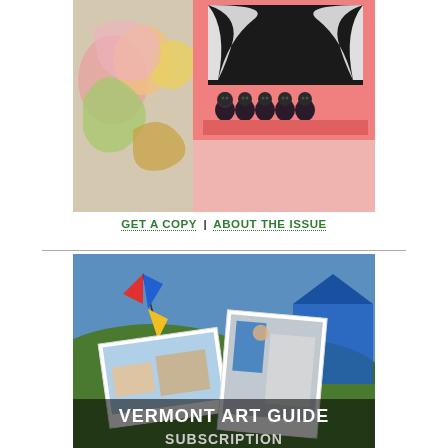[Figure (photo): Artwork photo showing a pink painted board with five small dark figurines arranged in a row, and a colorful floral painting visible to the left side.]
GET A COPY | ABOUT THE ISSUE
[Figure (photo): Vermont Art Guide subscription promotional image showing scattered photographs/postcards with outdoor scenes and interior scenes, with text overlay reading 'VERMONT ART GUIDE SUBSCRIPTION']